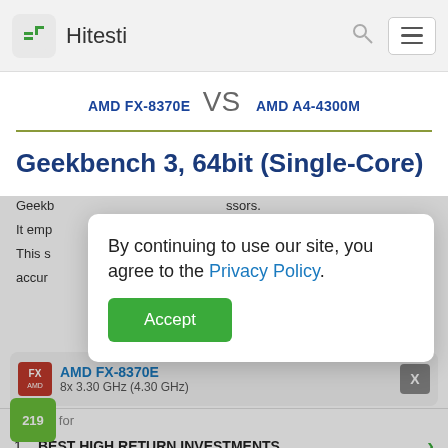Hitesti
AMD FX-8370E VS AMD A4-4300M
Geekbench 3, 64bit (Single-Core)
Geekbench... processors. It emp... re. This s... vide accur...
By continuing to use our site, you agree to the Privacy Policy. [Accept button]
AMD FX-8370E 8x 3.30 GHz (4.30 GHz)
Search for
1. BEST HIGH RETURN INVESTMENTS
2. WATER DAMAGED WALL REPAIR
Ad | Business Focus